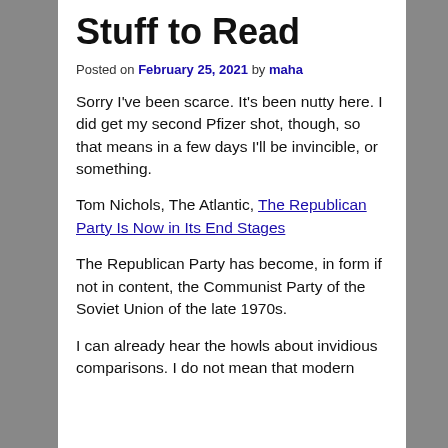Stuff to Read
Posted on February 25, 2021 by maha
Sorry I've been scarce. It's been nutty here. I did get my second Pfizer shot, though, so that means in a few days I'll be invincible, or something.
Tom Nichols, The Atlantic, The Republican Party Is Now in Its End Stages
The Republican Party has become, in form if not in content, the Communist Party of the Soviet Union of the late 1970s.
I can already hear the howls about invidious comparisons. I do not mean that modern